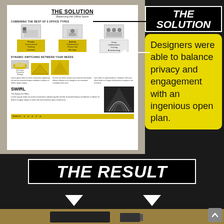[Figure (photo): A printed poster display about 'The Solution - Balancing the Office Spine', showing combining the best of 3 office types (private, activity, group collaboration), dynamic switching between needs, and SWIRL - The Balanced Office product with yellow branding elements]
THE SOLUTION
Designers were able to balance privacy and engagement with an ingenious open plan.
THE RESULT
[Figure (photo): Bottom portion of a workspace photo showing a yellow/wood curved desk surface with a monitor and lamp in a dark room setting]